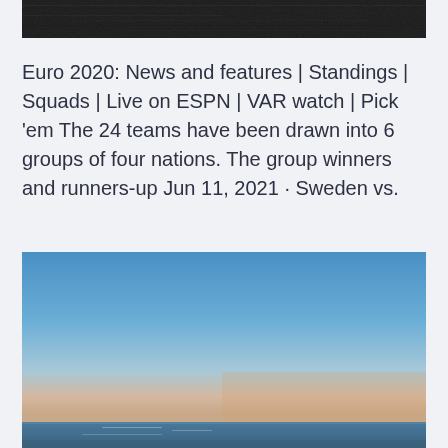[Figure (photo): Dark textured surface, possibly water or asphalt, cropped at top of page]
Euro 2020: News and features | Standings | Squads | Live on ESPN | VAR watch | Pick 'em The 24 teams have been drawn into 6 groups of four nations. The group winners and runners-up Jun 11, 2021 · Sweden vs.
[Figure (photo): Seascape photograph showing a calm ocean with a gradient sky transitioning from blue at top to warm peach/orange near the horizon, with water visible at the bottom]